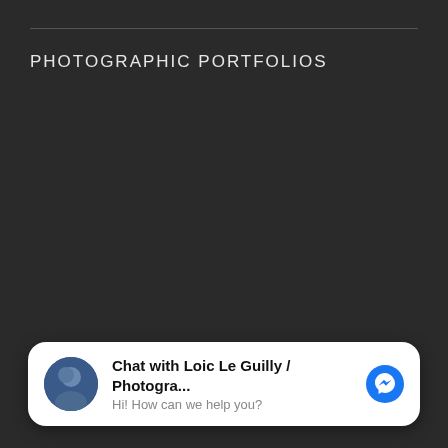PHOTOGRAPHIC PORTFOLIOS
Chat with Loic Le Guilly / Photogra...
Hi! How can we help you?